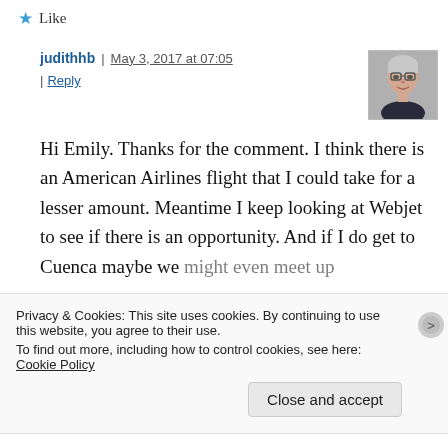★ Like
judithhb | May 3, 2017 at 07:05 | Reply
[Figure (photo): Avatar photo of commenter judithhb — an older woman with grey hair and glasses]
Hi Emily. Thanks for the comment. I think there is an American Airlines flight that I could take for a lesser amount. Meantime I keep looking at Webjet to see if there is an opportunity. And if I do get to Cuenca maybe we might even meet up
Privacy & Cookies: This site uses cookies. By continuing to use this website, you agree to their use.
To find out more, including how to control cookies, see here: Cookie Policy
Close and accept